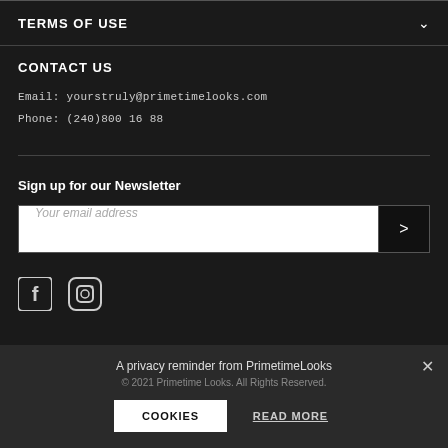TERMS OF USE
CONTACT US
Email: yourstruly@primetimelooks.com
Phone: (240)800 16 88
Sign up for our Newsletter
[Figure (screenshot): Newsletter email input field with placeholder 'Your email address' and a dark submit arrow button]
[Figure (screenshot): Social media icons: Facebook and Instagram]
A privacy reminder from PrimetimeLooks
© 2021 Primetime Looks. All Rights Reserved.
COOKIES
READ MORE